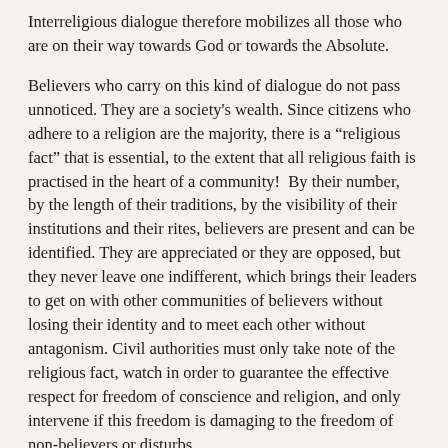Interreligious dialogue therefore mobilizes all those who are on their way towards God or towards the Absolute.
Believers who carry on this kind of dialogue do not pass unnoticed. They are a society's wealth. Since citizens who adhere to a religion are the majority, there is a “religious fact” that is essential, to the extent that all religious faith is practised in the heart of a community!  By their number, by the length of their traditions, by the visibility of their institutions and their rites, believers are present and can be identified. They are appreciated or they are opposed, but they never leave one indifferent, which brings their leaders to get on with other communities of believers without losing their identity and to meet each other without antagonism. Civil authorities must only take note of the religious fact, watch in order to guarantee the effective respect for freedom of conscience and religion, and only intervene if this freedom is damaging to the freedom of non-believers or disturbs